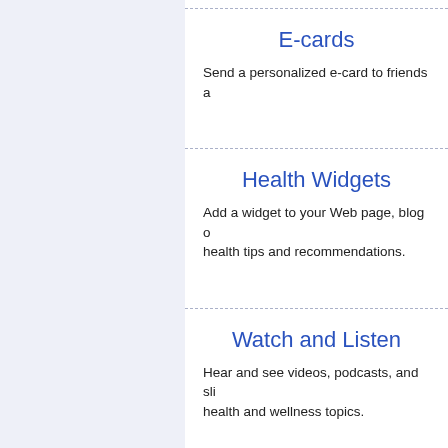E-cards
Send a personalized e-card to friends a
Health Widgets
Add a widget to your Web page, blog o health tips and recommendations.
Watch and Listen
Hear and see videos, podcasts, and sli health and wellness topics.